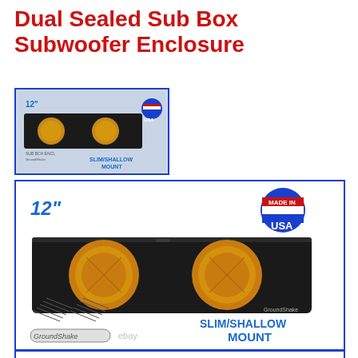Dual Sealed Sub Box Subwoofer Enclosure
[Figure (photo): Thumbnail image of a dual 12-inch slim/shallow mount sealed subwoofer enclosure box, black, with two circular speaker cutouts, Made in USA badge, GroundShake brand label]
[Figure (photo): Main product image of a dual 12-inch slim/shallow mount sealed subwoofer enclosure box, black rectangular enclosure with two circular yellow/gold speaker openings, Made in USA badge, screws shown, GroundShake and eBay watermark, SLIM/SHALLOW MOUNT text]
[Figure (photo): Partial bottom strip of another image, blue border, partially visible]